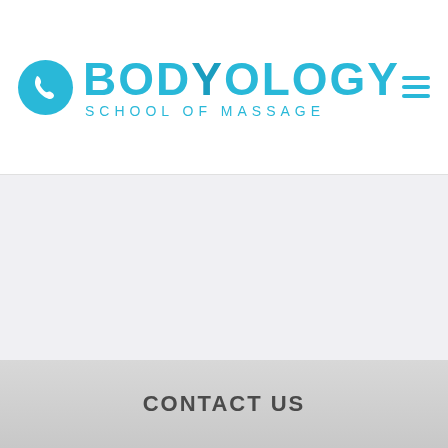[Figure (logo): Bodyology School of Massage logo with phone icon circle on the left and hamburger menu icon on the right]
[Figure (other): Light gray content area background]
CONTACT US